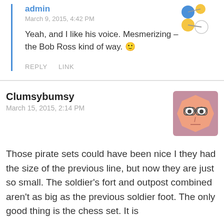admin
March 9, 2015, 4:42 PM
Yeah, and I like his voice. Mesmerizing – the Bob Ross kind of way. 🙂
REPLY   LINK
Clumsybumsy
March 15, 2015, 2:14 PM
Those pirate sets could have been nice I they had the size of the previous line, but now they are just so small. The soldier's fort and outpost combined aren't as big as the previous soldier foot. The only good thing is the chess set. It is